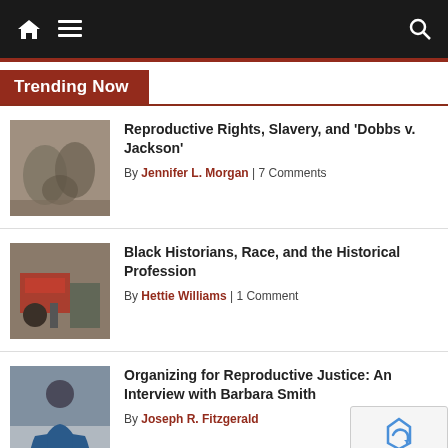Navigation bar with home, menu, and search icons
Trending Now
Reproductive Rights, Slavery, and 'Dobbs v. Jackson'
By Jennifer L. Morgan | 7 Comments
Black Historians, Race, and the Historical Profession
By Hettie Williams | 1 Comment
Organizing for Reproductive Justice: An Interview with Barbara Smith
By Joseph R. Fitzgerald